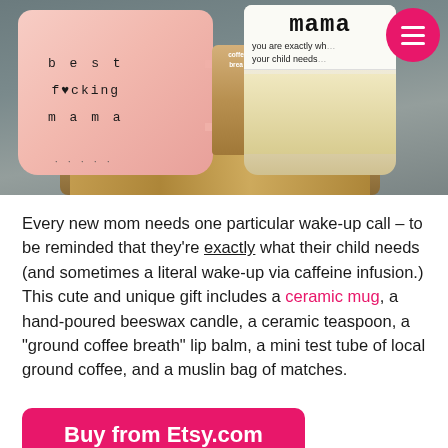[Figure (photo): A gift box containing a pink ceramic mug reading 'best f♥cking mama', a white candle jar labeled 'mama / you are exactly what your child needs', a coffee breath roll, and brown crinkle paper fill. A pink circle menu button appears top right.]
Every new mom needs one particular wake-up call – to be reminded that they're exactly what their child needs (and sometimes a literal wake-up via caffeine infusion.) This cute and unique gift includes a ceramic mug, a hand-poured beeswax candle, a ceramic teaspoon, a "ground coffee breath" lip balm, a mini test tube of local ground coffee, and a muslin bag of matches.
Buy from Etsy.com